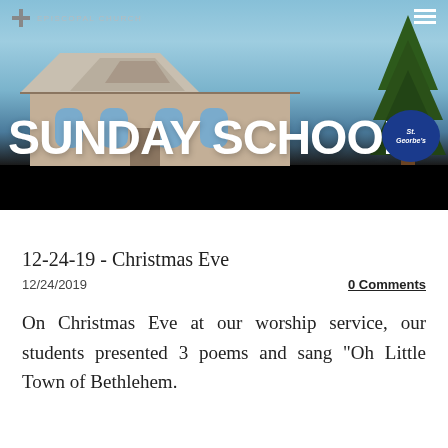[Figure (photo): Header image of a church building with blue sky, overlaid with large white bold text 'SUNDAY SCHOOL'. Navigation bar at top with cross logo, church name text, and hamburger menu icon. Black bar at bottom of header. St. George's circular sign visible at right.]
12-24-19 - Christmas Eve
12/24/2019
0 Comments
On Christmas Eve at our worship service, our students presented 3 poems and sang "Oh Little Town of Bethlehem.